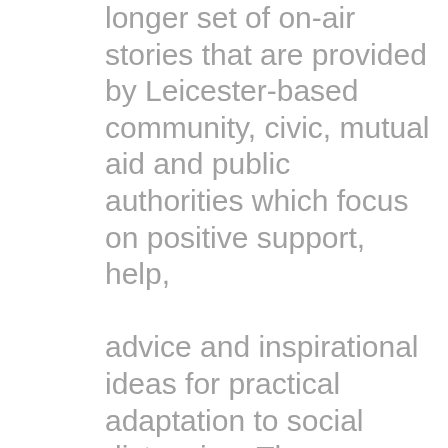longer set of on-air stories that are provided by Leicester-based community, civic, mutual aid and public authorities which focus on positive support, help, advice and inspirational ideas for practical adaptation to social distancing. These feature items can last up to six minutes, and can be used more creatively to share first-hand accounts and testimony of examples of mutual aid and support by social partners in the city. This service will use the same system as the updates process, but will be designated to a separate part of the playout system and will be rotated four times through the day. Only designated users with a username and password